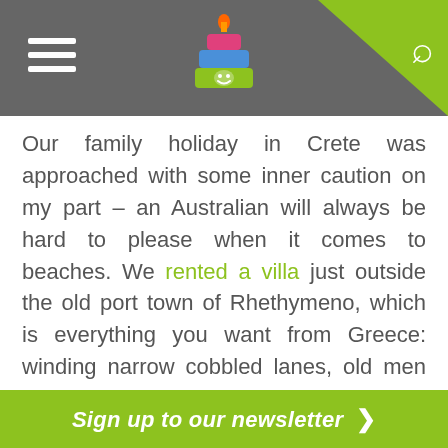Navigation header with hamburger menu, logo, and search icon
Our family holiday in Crete was approached with some inner caution on my part – an Australian will always be hard to please when it comes to beaches. We rented a villa just outside the old port town of Rhethymeno, which is everything you want from Greece: winding narrow cobbled lanes, old men on the kerbs drinking coffee, bakeries serving spanakopitas packed with wild leaves and salty feta, and a beautiful twinkling harbour, all encased in that special light that lends grace to colour, making it more vivid, more pure.
Sign up to our newsletter >